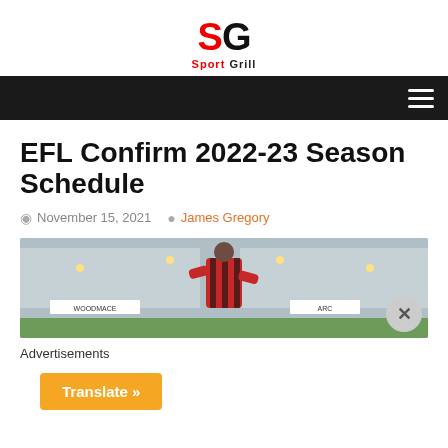[Figure (logo): Sport Grill logo with red S and black G letters and tagline 'Sport Grill']
≡
EFL Confirm 2022-23 Season Schedule
November 15, 2021   James Gregory
[Figure (photo): Football player in red and black striped jersey (Bournemouth-style) standing in a stadium with Woodmace and ARC advertising boards visible]
Advertisements
Translate »